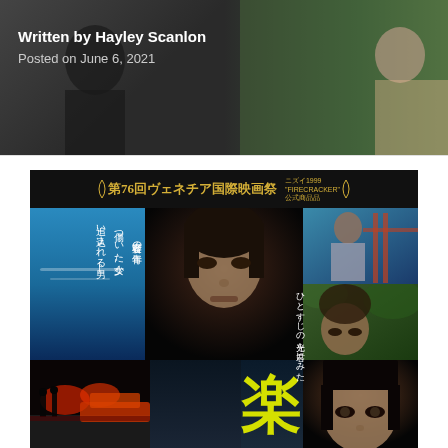Written by Hayley Scanlon
Posted on June 6, 2021
[Figure (photo): Movie poster for a Japanese film shown at the 76th Venice International Film Festival (第76回ヴェネチア国際映画祭). The poster features multiple panels: a close-up of a young man's face in the center, a blue sky panel with vertical Japanese text on the left, a smiling man in the upper right, an older man looking up in the lower right, a night scene with red lights in the lower left, a large yellow kanji character 楽 in the lower center, and a young woman's face in the lower right corner.]